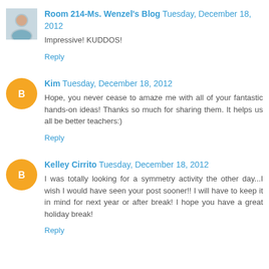Room 214-Ms. Wenzel's Blog  Tuesday, December 18, 2012
Impressive! KUDDOS!
Reply
Kim  Tuesday, December 18, 2012
Hope, you never cease to amaze me with all of your fantastic hands-on ideas! Thanks so much for sharing them. It helps us all be better teachers:)
Reply
Kelley Cirrito  Tuesday, December 18, 2012
I was totally looking for a symmetry activity the other day...I wish I would have seen your post sooner!! I will have to keep it in mind for next year or after break! I hope you have a great holiday break!
Reply